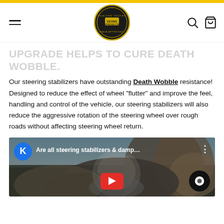KevinsOffRoad.com navigation header
UPGRADE HELPS TO CURE DEATH WOBBLE.
Our steering stabilizers have outstanding Death Wobble resistance! Designed to reduce the effect of wheel "flutter" and improve the feel, handling and control of the vehicle, our steering stabilizers will also reduce the aggressive rotation of the steering wheel over rough roads without affecting steering wheel return.
[Figure (screenshot): YouTube video thumbnail titled 'Are all steering stabilizers & damp...' showing a bald man outdoors with rocky terrain in the background, with a YouTube play button and a K avatar icon.]